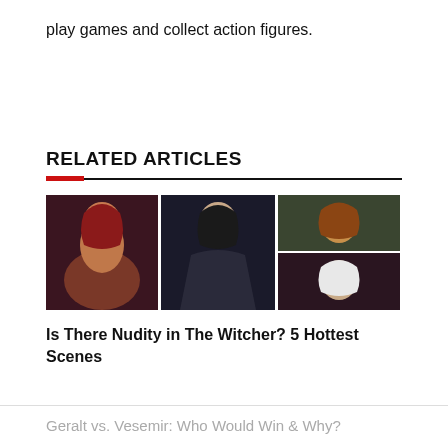play games and collect action figures.
RELATED ARTICLES
[Figure (photo): Composite thumbnail image with three female characters from The Witcher game series]
Is There Nudity in The Witcher? 5 Hottest Scenes
Geralt vs. Vesemir: Who Would Win & Why?